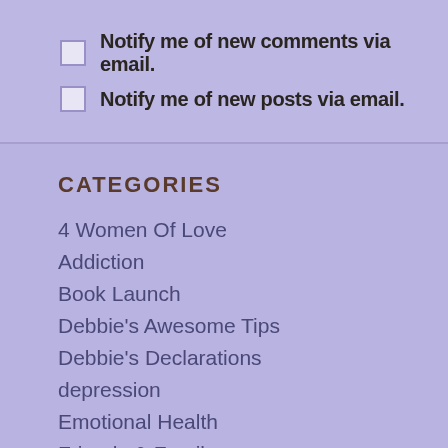Notify me of new comments via email.
Notify me of new posts via email.
CATEGORIES
4 Women Of Love
Addiction
Book Launch
Debbie's Awesome Tips
Debbie's Declarations
depression
Emotional Health
Friends & Family